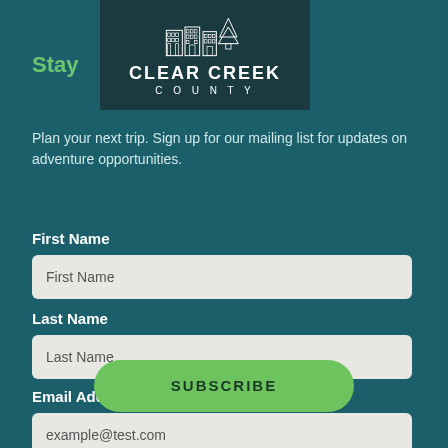[Figure (logo): Clear Creek County logo with buildings and pine tree illustration, white on dark teal background, with text CLEAR CREEK COUNTY]
Stay
Plan your next trip. Sign up for our mailing list for updates on adventure opportunities.
First Name
First Name (input field placeholder)
Last Name
Last Name (input field placeholder)
Email Address *
example@test.com (input field placeholder)
SUBSCRIBE